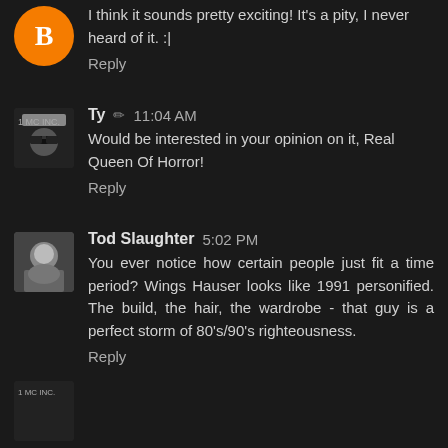I think it sounds pretty exciting! It's a pity, I never heard of it. :|
Reply
Ty  ✏  11:04 AM
Would be interested in your opinion on it, Real Queen Of Horror!
Reply
Tod Slaughter  5:02 PM
You ever notice how certain people just fit a time period? Wings Hauser looks like 1991 personified. The build, the hair, the wardrobe - that guy is a perfect storm of 80's/90's righteousness.
Reply